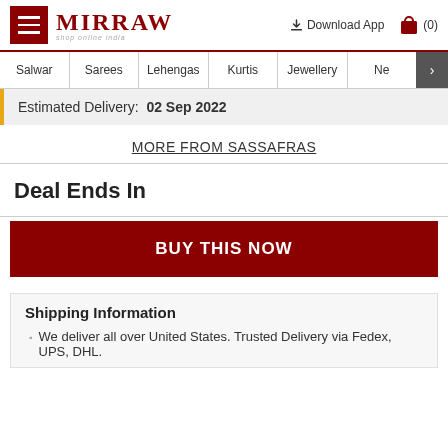Mirraw — shop online India | Download App | (0)
Salwar | Sarees | Lehengas | Kurtis | Jewellery | Ne >
Estimated Delivery: 02 Sep 2022
MORE FROM SASSAFRAS
Deal Ends In
BUY THIS NOW
Shipping Information
We deliver all over United States. Trusted Delivery via Fedex, UPS, DHL.